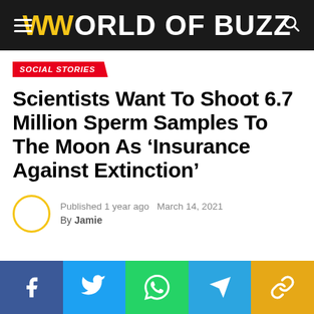WORLD OF BUZZ
SOCIAL STORIES
Scientists Want To Shoot 6.7 Million Sperm Samples To The Moon As 'Insurance Against Extinction'
Published 1 year ago  March 14, 2021
By Jamie